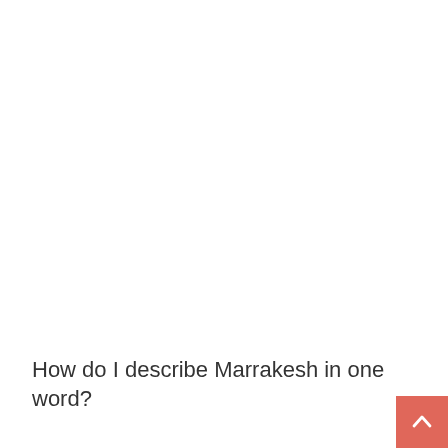How do I describe Marrakesh in one word?